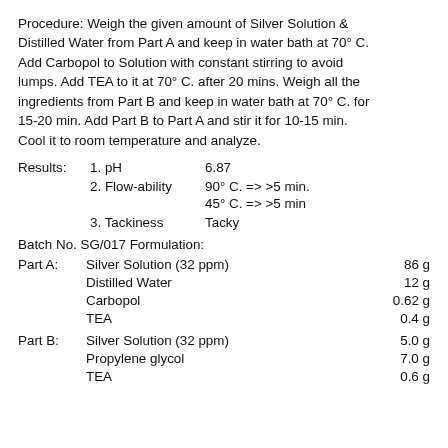Procedure: Weigh the given amount of Silver Solution & Distilled Water from Part A and keep in water bath at 70° C. Add Carbopol to Solution with constant stirring to avoid lumps. Add TEA to it at 70° C. after 20 mins. Weigh all the ingredients from Part B and keep in water bath at 70° C. for 15-20 min. Add Part B to Part A and stir it for 10-15 min. Cool it to room temperature and analyze.
Results: 1. pH   6.87
2. Flow-ability   90° C. => >5 min.   45° C. => >5 min
3. Tackiness   Tacky
Batch No. SG/017 Formulation:
Part A: Silver Solution (32 ppm)   86 g
Distilled Water   12 g
Carbopol   0.62 g
TEA   0.4 g
Part B: Silver Solution (32 ppm)   5.0 g
Propylene glycol   7.0 g
TEA   0.6 g